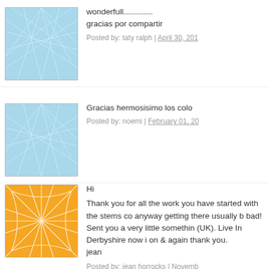[Figure (illustration): Square avatar with blue network/web pattern on light blue background]
wonderfull.............
gracias por compartir
Posted by: taty ralph | April 30, 201
[Figure (illustration): Square avatar with blue network/web pattern on light blue background]
Gracias hermosisimo los colo
Posted by: noemi | February 01, 20
[Figure (illustration): Square avatar with white network/web pattern on orange background]
Hi

Thank you for all the work you have started with the stems co anyway getting there usually b bad!
Sent you a very little somethin (UK). Live In Derbyshire now i on & again thank you.
jean
Posted by: jean horrocks | Novemb
[Figure (illustration): Square avatar with white flower/sunburst pattern on olive/green background]
This is an amazing tutorial ! I n
Posted by: Christiana | September